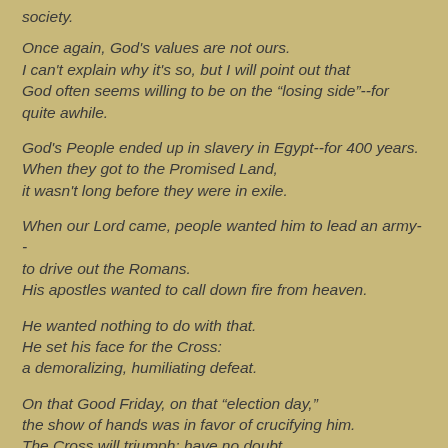society.
Once again, God's values are not ours.
I can't explain why it's so, but I will point out that
God often seems willing to be on the “losing side”--for quite awhile.
God's People ended up in slavery in Egypt--for 400 years.
When they got to the Promised Land,
it wasn't long before they were in exile.
When our Lord came, people wanted him to lead an army--
to drive out the Romans.
His apostles wanted to call down fire from heaven.
He wanted nothing to do with that.
He set his face for the Cross:
a demoralizing, humiliating defeat.
On that Good Friday, on that “election day,”
the show of hands was in favor of crucifying him.
The Cross will triumph; have no doubt.